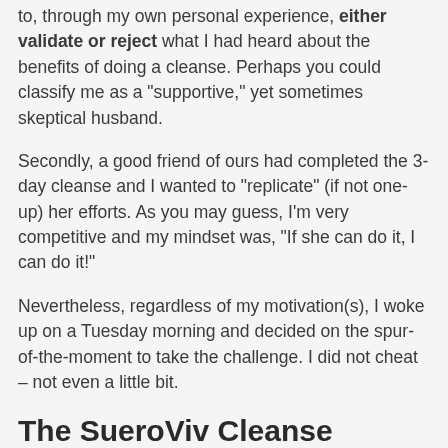to, through my own personal experience, either validate or reject what I had heard about the benefits of doing a cleanse. Perhaps you could classify me as a "supportive," yet sometimes skeptical husband.
Secondly, a good friend of ours had completed the 3-day cleanse and I wanted to "replicate" (if not one-up) her efforts. As you may guess, I'm very competitive and my mindset was, "If she can do it, I can do it!"
Nevertheless, regardless of my motivation(s), I woke up on a Tuesday morning and decided on the spur-of-the-moment to take the challenge. I did not cheat – not even a little bit.
The SueroViv Cleanse
For each of the 3-days, I had the SueroViv (raspberry